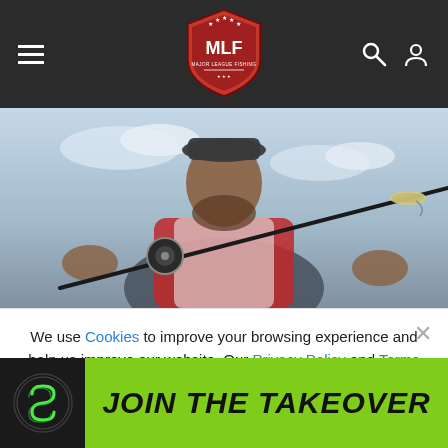[Figure (screenshot): MLF (Major League Fishing) website navigation bar with hamburger menu on left, MLF shield logo in center, search and user icons on right, dark background]
[Figure (photo): Hero photo of a bearded man in a fishing jersey holding a fishing rod with a lure, blurred background with sky]
We use Cookies to improve your browsing experience and help us improve our website. Our Privacy Policy and Terms of Service have changed. Click OK to agree.
[Figure (screenshot): OK button — red rounded pill button with white OK text, part of cookie consent banner]
[Figure (infographic): Advertisement banner: black left panel with circular SG logo, green right panel with italic bold text JOIN THE TAKEOVER]